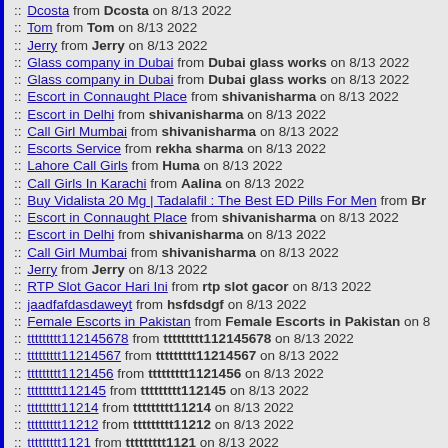:: Dcosta from Dcosta on 8/13 2022
:: Tom from Tom on 8/13 2022
:: Jerry from Jerry on 8/13 2022
:: Glass company in Dubai from Dubai glass works on 8/13 2022
:: Glass company in Dubai from Dubai glass works on 8/13 2022
:: Escort in Connaught Place from shivanisharma on 8/13 2022
:: Escort in Delhi from shivanisharma on 8/13 2022
:: Call Girl Mumbai from shivanisharma on 8/13 2022
:: Escorts Service from rekha sharma on 8/13 2022
:: Lahore Call Girls from Huma on 8/13 2022
:: Call Girls In Karachi from Aalina on 8/13 2022
:: Buy Vidalista 20 Mg | Tadalafil : The Best ED Pills For Men from Br...
:: Escort in Connaught Place from shivanisharma on 8/13 2022
:: Escort in Delhi from shivanisharma on 8/13 2022
:: Call Girl Mumbai from shivanisharma on 8/13 2022
:: Jerry from Jerry on 8/13 2022
:: RTP Slot Gacor Hari Ini from rtp slot gacor on 8/13 2022
:: jaadfafdasdaweyt from hsfdsdgf on 8/13 2022
:: Female Escorts in Pakistan from Female Escorts in Pakistan on 8/...
:: ttttttttt112145678 from ttttttttt112145678 on 8/13 2022
:: ttttttttt11214567 from ttttttttt11214567 on 8/13 2022
:: ttttttttt1121456 from ttttttttt1121456 on 8/13 2022
:: ttttttttt112145 from ttttttttt112145 on 8/13 2022
:: ttttttttt11214 from ttttttttt11214 on 8/13 2022
:: ttttttttt11212 from ttttttttt11212 on 8/13 2022
:: ttttttttt1121 from ttttttttt1121 on 8/13 2022
:: ttttttttt112 from ttttttttt112 on 8/13 2022
:: ttttttttt11 from ttttttttt11 on 8/12 2022
:: tttt666662 from tttt666661 on 8/12 2022
:: tttt66666 from tttt66666 on 8/12 2022
:: ttttttt444 from ttttttt444 on 8/12 2022